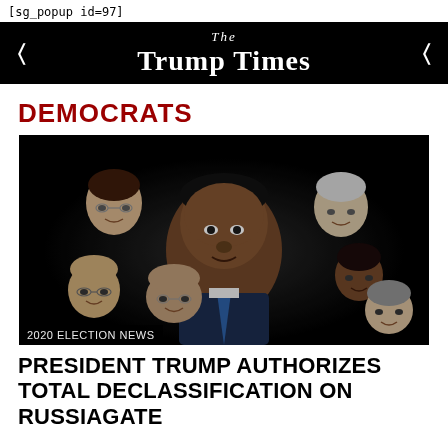[sg_popup id=97]
The Trump Times
DEMOCRATS
[Figure (photo): Composite dark montage photo showing Barack Obama in the foreground, surrounded by several other political figures in shadow including James Comey, Hillary Clinton, and others. A tag reads '2020 ELECTION NEWS' at the bottom left.]
PRESIDENT TRUMP AUTHORIZES TOTAL DECLASSIFICATION ON RUSSIAGATE